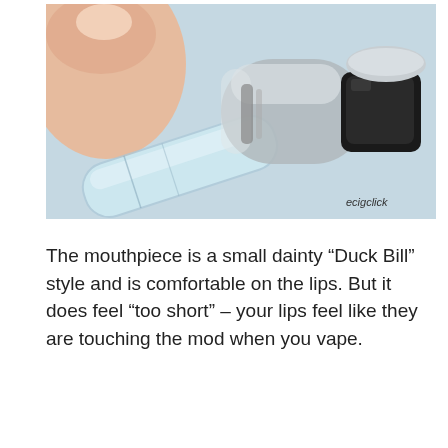[Figure (photo): Close-up photo of a vape mouthpiece (Duck Bill style) held between fingers, showing a transparent plastic/glass mouthpiece piece with metallic internal components and a black rubber tip. Watermark 'ecigclick' visible in lower right corner.]
The mouthpiece is a small dainty “Duck Bill” style and is comfortable on the lips. But it does feel “too short” – your lips feel like they are touching the mod when you vape.